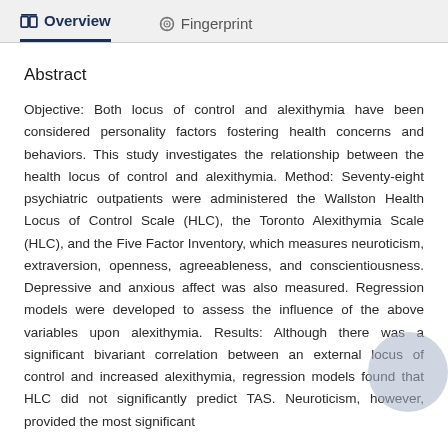Overview   Fingerprint
Abstract
Objective: Both locus of control and alexithymia have been considered personality factors fostering health concerns and behaviors. This study investigates the relationship between the health locus of control and alexithymia. Method: Seventy-eight psychiatric outpatients were administered the Wallston Health Locus of Control Scale (HLC), the Toronto Alexithymia Scale (HLC), and the Five Factor Inventory, which measures neuroticism, extraversion, openness, agreeableness, and conscientiousness. Depressive and anxious affect was also measured. Regression models were developed to assess the influence of the above variables upon alexithymia. Results: Although there was a significant bivariant correlation between an external locus of control and increased alexithymia, regression models found that HLC did not significantly predict TAS. Neuroticism, however, provided the most significant